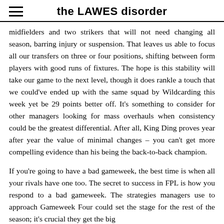the LAWES disorder
midfielders and two strikers that will not need changing all season, barring injury or suspension. That leaves us able to focus all our transfers on three or four positions, shifting between form players with good runs of fixtures. The hope is this stability will take our game to the next level, though it does rankle a touch that we could've ended up with the same squad by Wildcarding this week yet be 29 points better off. It's something to consider for other managers looking for mass overhauls when consistency could be the greatest differential. After all, King Ding proves year after year the value of minimal changes – you can't get more compelling evidence than his being the back-to-back champion.
If you're going to have a bad gameweek, the best time is when all your rivals have one too. The secret to success in FPL is how you respond to a bad gameweek. The strategies managers use to approach Gameweek Four could set the stage for the rest of the season; it's crucial they get the big